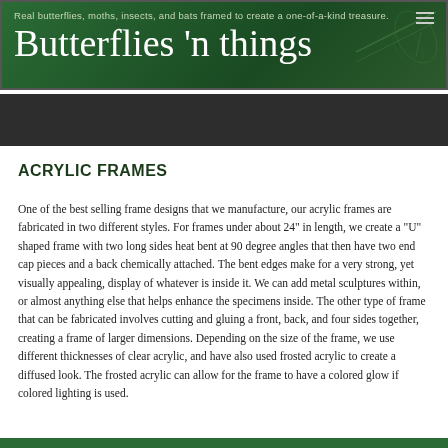Real butterflies, moths, insects, and bats framed to create a one-of-a-kind treasure. Butterflies 'n things
[Figure (other): Dark navigation bar area below the site header]
ACRYLIC FRAMES
One of the best selling frame designs that we manufacture, our acrylic frames are fabricated in two different styles. For frames under about 24" in length, we create a "U" shaped frame with two long sides heat bent at 90 degree angles that then have two end cap pieces and a back chemically attached. The bent edges make for a very strong, yet visually appealing, display of whatever is inside it. We can add metal sculptures within, or almost anything else that helps enhance the specimens inside. The other type of frame that can be fabricated involves cutting and gluing a front, back, and four sides together, creating a frame of larger dimensions. Depending on the size of the frame, we use different thicknesses of clear acrylic, and have also used frosted acrylic to create a diffused look. The frosted acrylic can allow for the frame to have a colored glow if colored lighting is used.